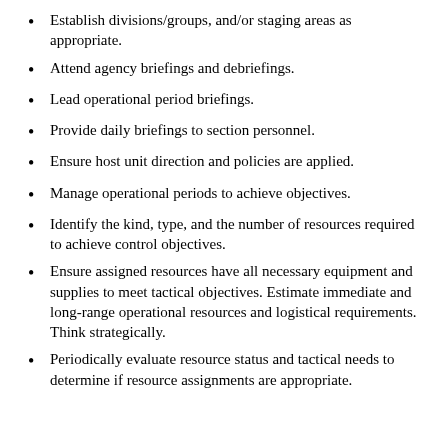Establish divisions/groups, and/or staging areas as appropriate.
Attend agency briefings and debriefings.
Lead operational period briefings.
Provide daily briefings to section personnel.
Ensure host unit direction and policies are applied.
Manage operational periods to achieve objectives.
Identify the kind, type, and the number of resources required to achieve control objectives.
Ensure assigned resources have all necessary equipment and supplies to meet tactical objectives. Estimate immediate and long-range operational resources and logistical requirements. Think strategically.
Periodically evaluate resource status and tactical needs to determine if resource assignments are appropriate.